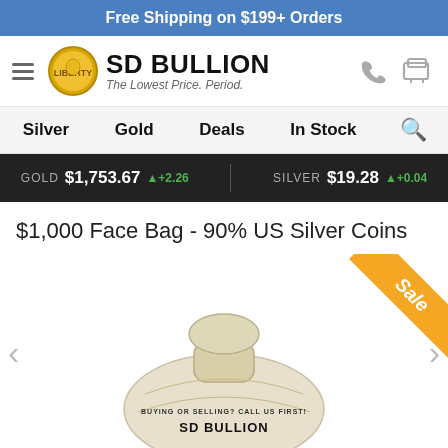Free Shipping on $199+ Orders
[Figure (logo): SD Bullion logo with coin image and tagline 'The Lowest Price. Period.']
Silver  Gold  Deals  In Stock
GOLD $1,753.67 +2.26   SILVER $19.28 +0.04
$1,000 Face Bag - 90% US Silver Coins
[Figure (photo): Canvas money bag labeled 'SD Bullion - Buying or Selling? Call us first!' with a Sale ribbon in the top-right corner]